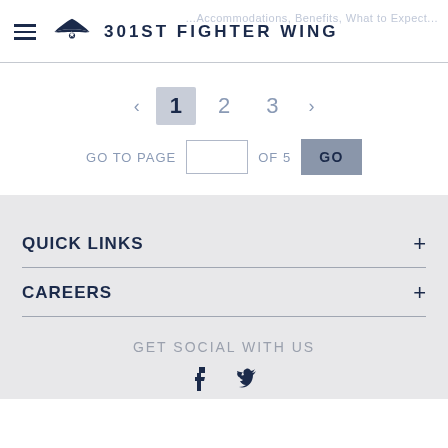301ST FIGHTER WING
< 1 2 3 > GO TO PAGE [input] OF 5 GO
QUICK LINKS
CAREERS
GET SOCIAL WITH US